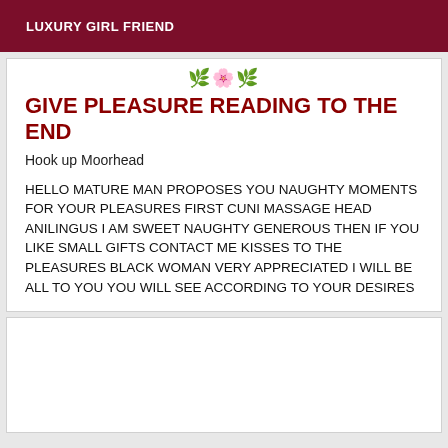LUXURY GIRL FRIEND
GIVE PLEASURE READING TO THE END
Hook up Moorhead
HELLO MATURE MAN PROPOSES YOU NAUGHTY MOMENTS FOR YOUR PLEASURES FIRST CUNI MASSAGE HEAD ANILINGUS I AM SWEET NAUGHTY GENEROUS THEN IF YOU LIKE SMALL GIFTS CONTACT ME KISSES TO THE PLEASURES BLACK WOMAN VERY APPRECIATED I WILL BE ALL TO YOU YOU WILL SEE ACCORDING TO YOUR DESIRES